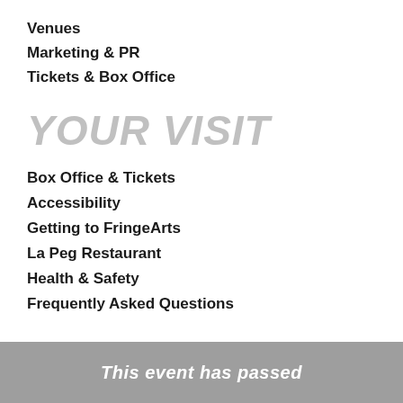Venues
Marketing & PR
Tickets & Box Office
YOUR VISIT
Box Office & Tickets
Accessibility
Getting to FringeArts
La Peg Restaurant
Health & Safety
Frequently Asked Questions
JOIN + SUPPORT
Membership
This event has passed